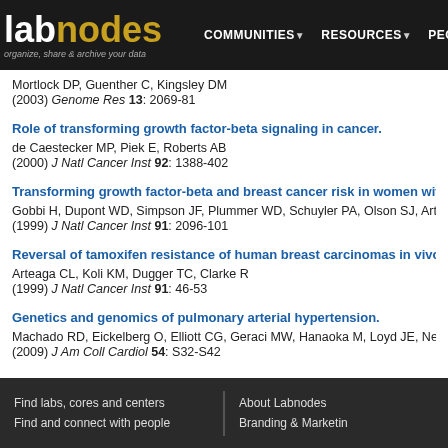labnodes | COMMUNITIES | RESOURCES | PEOPLE | organize, share & archive your data
Mortlock DP, Guenther C, Kingsley DM
(2003) Genome Res 13: 2069-81
Role of transforming growth factor-beta signaling in cancer.
de Caestecker MP, Piek E, Roberts AB
(2000) J Natl Cancer Inst 92: 1388-402
Transforming growth factor-beta and breast cancer risk in women with man...
Gobbi H, Dupont WD, Simpson JF, Plummer WD, Schuyler PA, Olson SJ, Arteag...
(1999) J Natl Cancer Inst 91: 2096-101
Reversal of tamoxifen resistance of human breast carcinomas in vivo by ne...
Arteaga CL, Koli KM, Dugger TC, Clarke R
(1999) J Natl Cancer Inst 91: 46-53
Genetics and genomics of pulmonary arterial hypertension.
Machado RD, Eickelberg O, Elliott CG, Geraci MW, Hanaoka M, Loyd JE, Newm...
(2009) J Am Coll Cardiol 54: S32-S42
Find labs, cores and centers | Find and connect with people | About Labnodes | Branding & Marketing